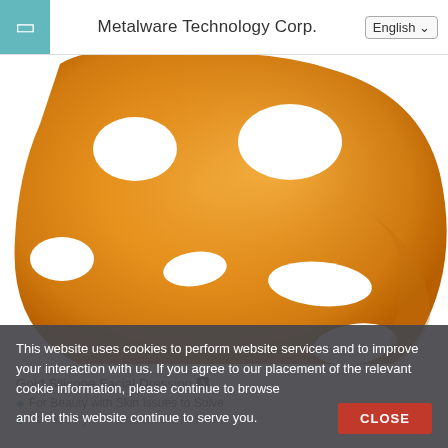Metalware Technology Corp.  English
[Figure (photo): Orange/gold colored silicone facial mask with cutouts for eyes, nose, and mouth areas, photographed against a white background.]
Gold Silicone Facial Dressing
For Beauty with Skin Issues to Solve
For Beauty with Skin Issues to Solve
This website uses cookies to perform website services and to improve your interaction with us. If you agree to our placement of the relevant cookie information, please continue to browse and let this website continue to serve you.
CLOSE